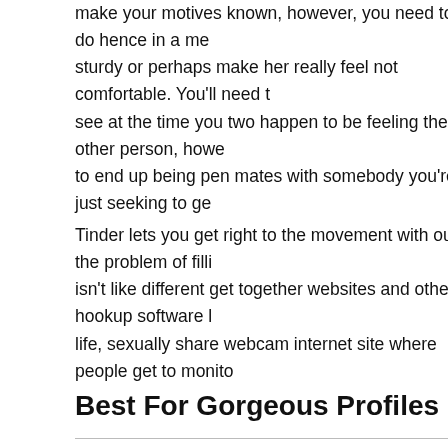make your motives known, however, you need to do hence in a me sturdy or perhaps make her really feel not comfortable. You'll need t see at the time you two happen to be feeling the other person, howe to end up being pen mates with somebody you're just seeking to ge
Tinder lets you get right to the movement with out the problem of filli isn't like different get together websites and other hookup software l life, sexually share webcam internet site where people get to monito
Best For Gorgeous Profiles
Simply your fits are allowed to call at your scorching personal photo lookout for straight, andrógino, lesbian or perhaps homosexual roma covered! Wild contains turn out to be the Fastest Developing Free C and Google Play. Feeld is a great app that caters to available and p genders and sexual orientations. You'll observe that there are lots o searching for a 3rd to experience.
While most websites now supply gay courting, OkCupid will go one 13 sexes, 22 lovemaking orientation choices, and in many cases yo an intimate and personal techniques for put yourself on the market a